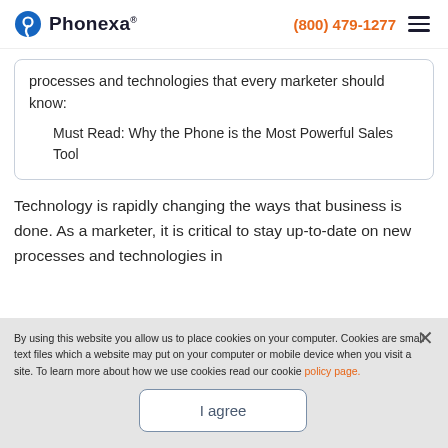Phonexa (800) 479-1277
processes and technologies that every marketer should know:
Must Read: Why the Phone is the Most Powerful Sales Tool
Technology is rapidly changing the ways that business is done. As a marketer, it is critical to stay up-to-date on new processes and technologies in
By using this website you allow us to place cookies on your computer. Cookies are small text files which a website may put on your computer or mobile device when you visit a site. To learn more about how we use cookies read our cookie policy page.